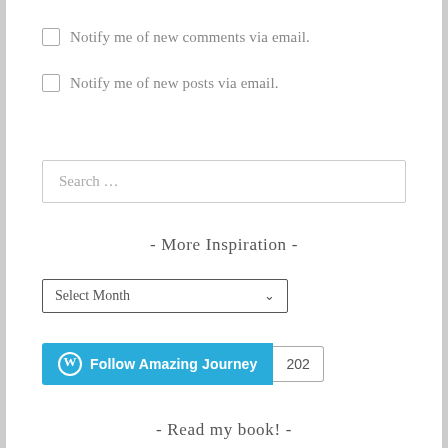Notify me of new comments via email.
Notify me of new posts via email.
Search …
- More Inspiration -
Select Month
Follow Amazing Journey 202
- Read my book! -